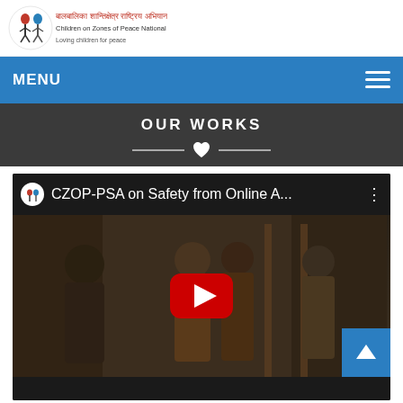[Figure (logo): CZOP logo with children illustration and Nepali/English text: Children on Zones of Peace National Campaign (CZOP)]
MENU
OUR WORKS
[Figure (screenshot): YouTube video embed showing CZOP-PSA on Safety from Online A... with a play button overlay and scene of children/young people near a doorway]
CZOP-PSA on Safety from Online...